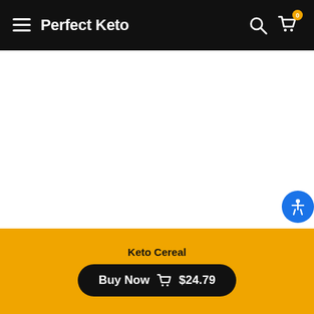Perfect Keto
[Figure (screenshot): White empty product image area]
We're Cuckoo For Keto Cereal
Keto Cereal
Buy Now $24.79